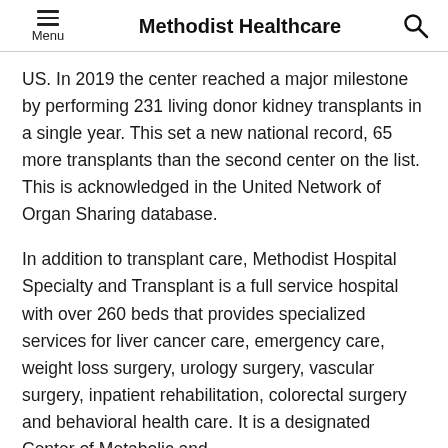Methodist Healthcare
US. In 2019 the center reached a major milestone by performing 231 living donor kidney transplants in a single year. This set a new national record, 65 more transplants than the second center on the list. This is acknowledged in the United Network of Organ Sharing database.
In addition to transplant care, Methodist Hospital Specialty and Transplant is a full service hospital with over 260 beds that provides specialized services for liver cancer care, emergency care, weight loss surgery, urology surgery, vascular surgery, inpatient rehabilitation, colorectal surgery and behavioral health care. It is a designated Center of Metabolic and Bariatric Surgery. It also has an American College of